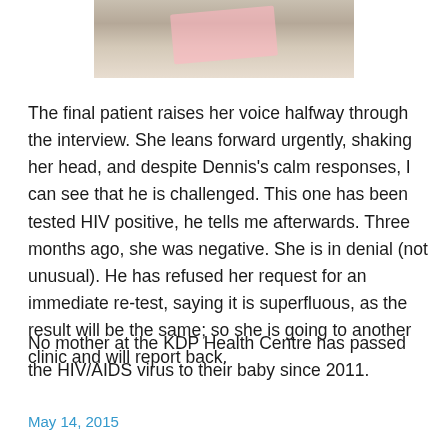[Figure (photo): Photo of documents/papers on a desk, partially visible at top of page]
The final patient raises her voice halfway through the interview. She leans forward urgently, shaking her head, and despite Dennis’s calm responses, I can see that he is challenged. This one has been tested HIV positive, he tells me afterwards. Three months ago, she was negative. She is in denial (not unusual). He has refused her request for an immediate re-test, saying it is superfluous, as the result will be the same; so she is going to another clinic and will report back.
No mother at the KDP Health Centre has passed the HIV/AIDS virus to their baby since 2011.
May 14, 2015